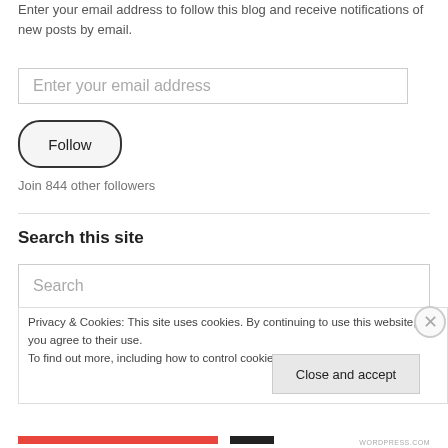Enter your email address to follow this blog and receive notifications of new posts by email.
Enter your email address
Follow
Join 844 other followers
Search this site
Search
Privacy & Cookies: This site uses cookies. By continuing to use this website, you agree to their use.
To find out more, including how to control cookies, see here: Cookie Policy
Close and accept